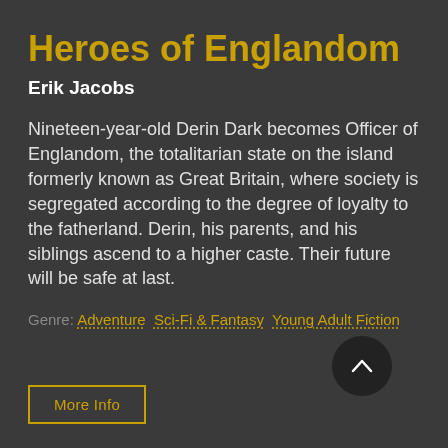Heroes of Englandom
Erik Jacobs
Nineteen-year-old Derin Dark becomes Officer of Englandom, the totalitarian state on the island formerly known as Great Britain, where society is segregated according to the degree of loyalty to the fatherland. Derin, his parents, and his siblings ascend to a higher caste. Their future will be safe at last.
Genre: Adventure  Sci-Fi & Fantasy  Young Adult Fiction